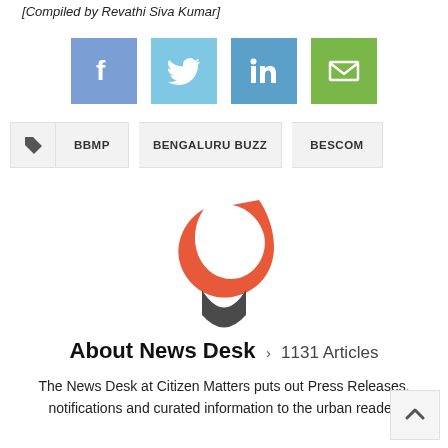[Compiled by Revathi Siva Kumar]
[Figure (infographic): Social media share icons: Facebook (blue), Twitter (light blue), LinkedIn (darker blue), Email/envelope (green)]
BBMP
BENGALURU BUZZ
BESCOM
[Figure (logo): Citizen Matters logo: orange crescent C shape on top, dark grey U/smiley shape on bottom]
About News Desk > 1131 Articles
The News Desk at Citizen Matters puts out Press Releases, notifications and curated information to the urban reader.